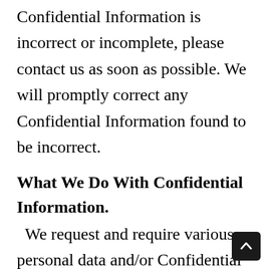Confidential Information is incorrect or incomplete, please contact us as soon as possible. We will promptly correct any Confidential Information found to be incorrect.
What We Do With Confidential Information.
We request and require various personal data and/or Confidential Information to understand your needs and provide you with better services. In addition, we may use such data and Confidential Information for